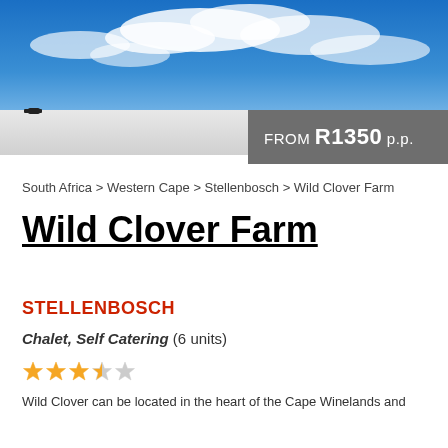[Figure (photo): Aerial or wide view of Wild Clover Farm property with blue sky and clouds]
FROM R1350 p.p.
South Africa > Western Cape > Stellenbosch > Wild Clover Farm
Wild Clover Farm
STELLENBOSCH
Chalet, Self Catering (6 units)
[Figure (illustration): 3.5 star rating shown with filled and empty stars]
Wild Clover can be located in the heart of the Cape Winelands and